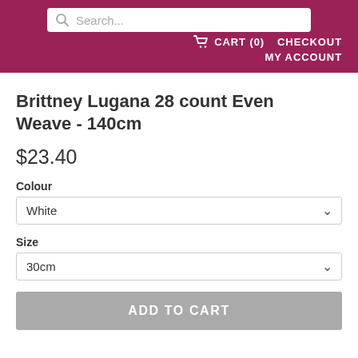Search... | CART (0) | CHECKOUT | MY ACCOUNT
Brittney Lugana 28 count Even Weave - 140cm
$23.40
Colour
White
Size
30cm
ADD TO CART